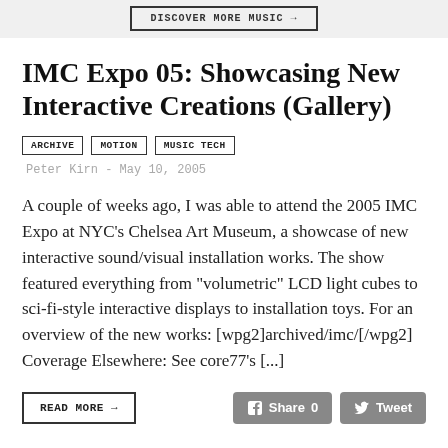DISCOVER MORE MUSIC →
IMC Expo 05: Showcasing New Interactive Creations (Gallery)
ARCHIVE   MOTION   MUSIC TECH   Peter Kirn - May 10, 2005
A couple of weeks ago, I was able to attend the 2005 IMC Expo at NYC's Chelsea Art Museum, a showcase of new interactive sound/visual installation works. The show featured everything from "volumetric" LCD light cubes to sci-fi-style interactive displays to installation toys. For an overview of the new works: [wpg2]archived/imc/[/wpg2] Coverage Elsewhere: See core77's [...]
READ MORE →
Share 0   Tweet